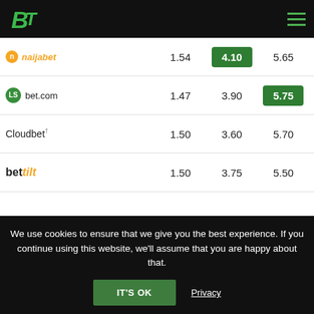BetTilt header navigation
| Bookmaker | 1 | X | 2 |
| --- | --- | --- | --- |
| NaijaBet | 1.54 | 4.10 | 5.65 |
| LSbet.com | 1.47 | 3.90 | 5.75 |
| Cloudbet | 1.50 | 3.60 | 5.70 |
| bettilt | 1.50 | 3.75 | 5.50 |
| BETANDYOU | 1.53 | 3.75 | 5.50 |
| LEON | 1.57 | 3.60 | 4.70 |
| MyStake | 1.45 | 3.85 | 5.50 |
| ewin | 1.52 | 3.02 | 5.45 |
We use cookies to ensure that we give you the best experience. If you continue using this website, we'll assume that you are happy about that.
IT'S OK
Privacy